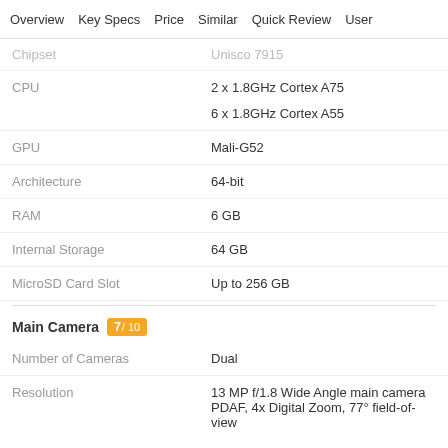Overview  Key Specs  Price  Similar  Quick Review  User
| Chipset | Unisco 7915 |
| CPU | 2 x 1.8GHz Cortex A75
6 x 1.8GHz Cortex A55 |
| GPU | Mali-G52 |
| Architecture | 64-bit |
| RAM | 6 GB |
| Internal Storage | 64 GB |
| MicroSD Card Slot | Up to 256 GB |
Main Camera  7 / 10
| Number of Cameras | Dual |
| Resolution | 13 MP f/1.8 Wide Angle main camera
PDAF, 4x Digital Zoom, 77° field-of-view

2 MP f/2.4 depth sensor |